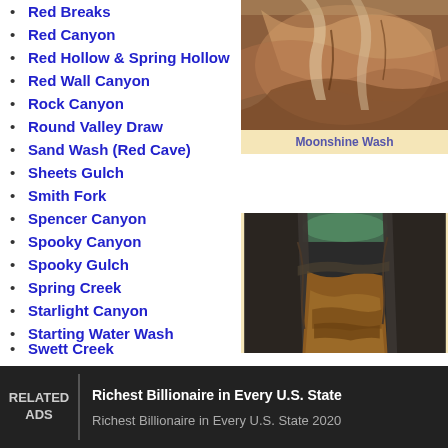Red Breaks
Red Canyon
Red Hollow & Spring Hollow
Red Wall Canyon
Rock Canyon
Round Valley Draw
Sand Wash (Red Cave)
Sheets Gulch
Smith Fork
Spencer Canyon
Spooky Canyon
Spooky Gulch
Spring Creek
Starlight Canyon
Starting Water Wash
[Figure (photo): Moonshine Wash canyon photo showing red and white swirling rock formations]
Moonshine Wash
[Figure (photo): Narrow slot canyon with muddy brown water on the floor and tall dark rock walls]
Swett Creek
RELATED ADS
Richest Billionaire in Every U.S. State
Richest Billionaire in Every U.S. State 2020